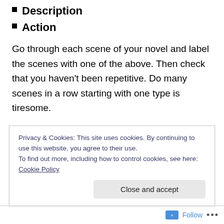Description
Action
Go through each scene of your novel and label the scenes with one of the above. Then check that you haven't been repetitive. Do many scenes in a row starting with one type is tiresome.
Scene Entry Hook
Get The Reader's Attention With A Great Scene Hook
Privacy & Cookies: This site uses cookies. By continuing to use this website, you agree to their use.
To find out more, including how to control cookies, see here: Cookie Policy
Close and accept
Follow ...